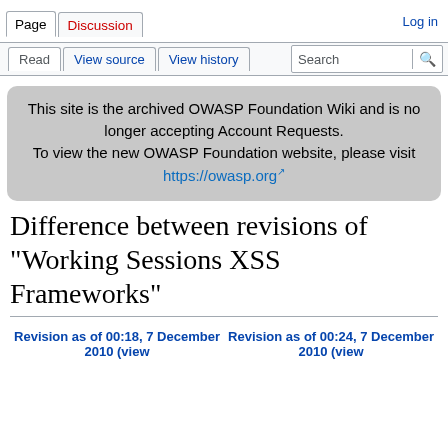Page  Discussion  Log in
Read  View source  View history  Search
This site is the archived OWASP Foundation Wiki and is no longer accepting Account Requests.
To view the new OWASP Foundation website, please visit https://owasp.org
Difference between revisions of "Working Sessions XSS Frameworks"
Revision as of 00:18, 7 December 2010 (view
Revision as of 00:24, 7 December 2010 (view